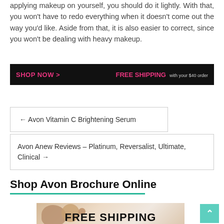applying makeup on yourself, you should do it lightly. With that, you won't have to redo everything when it doesn't come out the way you'd like. Aside from that, it is also easier to correct, since you won't be dealing with heavy makeup.
[Figure (infographic): Black banner with pink 'SHOP NOW >' text on the left and 'FREE SHIPPING with your $40 order' text on the right]
← Avon Vitamin C Brightening Serum
Avon Anew Reviews – Platinum, Reversalist, Ultimate, Clinical →
Shop Avon Brochure Online
[Figure (photo): Product photo showing makeup foundation container and liquid swatches with 'FREE SHIPPING' text overlay]